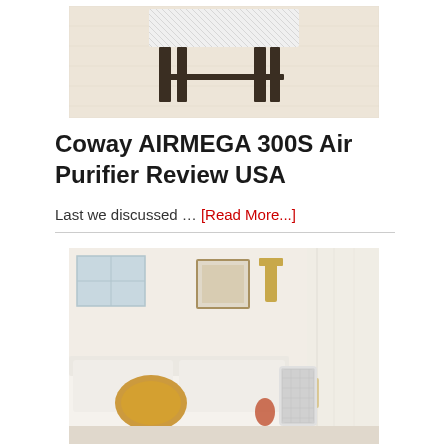[Figure (photo): Top partial photo showing a piece of furniture (table/bench with patterned top and dark legs) on a light textured rug against a white background]
Coway AIRMEGA 300S Air Purifier Review USA
Last we discussed … [Read More...]
[Figure (photo): Photo of a bright modern living room with white sofa, yellow/gold pillow, a framed artwork on wall, gold wall sconce, sheer white curtains, and a Coway air purifier on the floor]